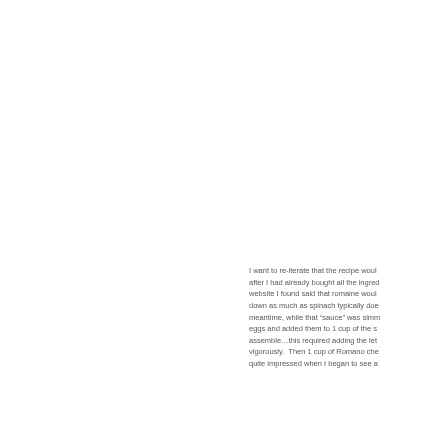I want to re-iterate that the recipe would after I had already bought all the ingred website I found said that romaine would down as much as spinach typically doe meantime, while that "sauce" was simm eggs and added them to 1 cup of the s assemble…this required adding the let vigorously.  Then 1 cup of Romano che quite impressed when I began to see a